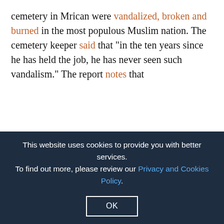cemetery in Mrican were vandalized, broken and burned in the most populous Muslim nation. The cemetery keeper said that "in the ten years since he has held the job, he has never seen such vandalism." The report notes that
"the incident joins a long list of cases of intolerance that have taken place in recent months.... In December 2018, some residents in Purbayan removed the upper part of a cross placed on the tomb of Albertus Slamet Sugihardi, after informing his widow, Maria Sutris Winarni, that the cemetery was 'for the exclusive use of Muslims.' Before that, the Catholic family was forced to hold a private community. A few weeks later, Christian tombs were vandalised in several cemeteries in Magelang, 30 kilometres north of Yogyakarta, Central Java."
This website uses cookies to provide you with better services. To find out more, please review our Privacy and Cookies Policy.